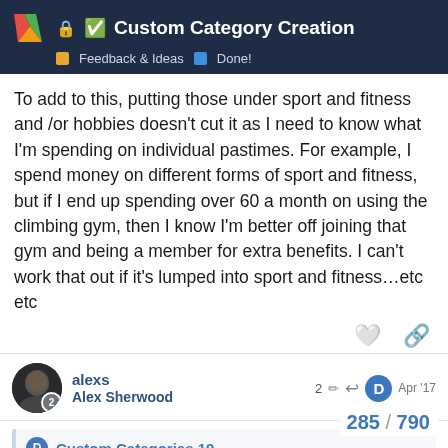Custom Category Creation | Feedback & Ideas | Done!
To add to this, putting those under sport and fitness and /or hobbies doesn't cut it as I need to know what I'm spending on individual pastimes. For example, I spend money on different forms of sport and fitness, but if I end up spending over 60 a month on using the climbing gym, then I know I'm better off joining that gym and being a member for extra benefits. I can't work that out if it's lumped into sport and fitness…etc etc
alexs
Alex Sherwood
2 ✏ → D Apr '17
D Custom Categories 19
I understand you want to aggregate your data but is this more important than giving your custom need??
285 / 790